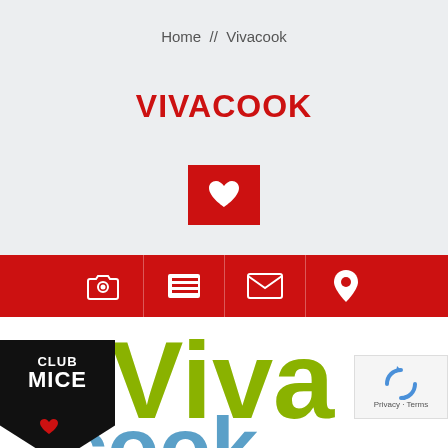Home // Vivacook
VIVACOOK
[Figure (infographic): Red square button with white heart icon]
[Figure (infographic): Red navigation bar with four white icons: camera, list/menu, envelope, map pin]
[Figure (logo): Vivacook logo with Club MICE badge - green Viva text, blue Cook text, Club MICE black badge, and cooking pot icon]
[Figure (logo): reCAPTCHA widget with Privacy - Terms text]